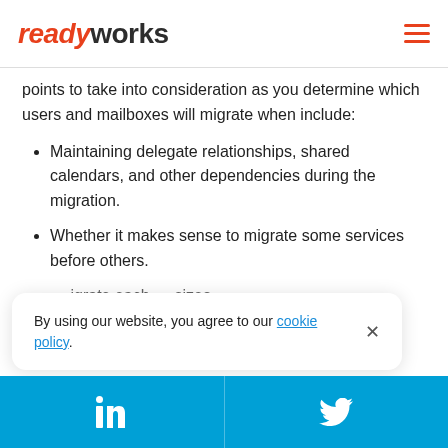readyworks
points to take into consideration as you determine which users and mailboxes will migrate when include:
Maintaining delegate relationships, shared calendars, and other dependencies during the migration.
Whether it makes sense to migrate some services before others.
…migrate each …sizes.
By using our website, you agree to our cookie policy.
LinkedIn | Twitter